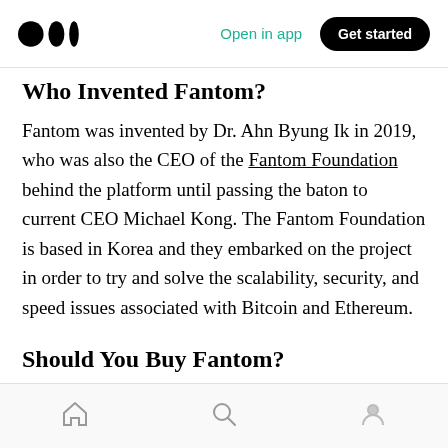Open in app | Get started
Who Invented Fantom?
Fantom was invented by Dr. Ahn Byung Ik in 2019, who was also the CEO of the Fantom Foundation behind the platform until passing the baton to current CEO Michael Kong. The Fantom Foundation is based in Korea and they embarked on the project in order to try and solve the scalability, security, and speed issues associated with Bitcoin and Ethereum.
Should You Buy Fantom?
Home | Search | Profile